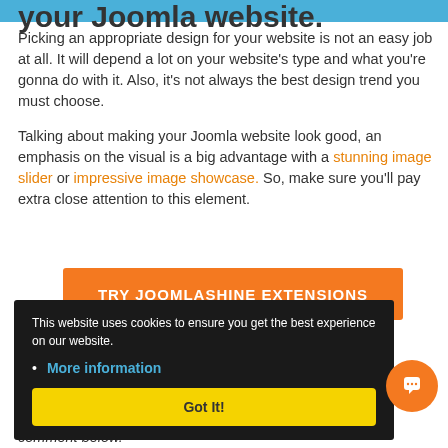your Joomla website.
Picking an appropriate design for your website is not an easy job at all. It will depend a lot on your website's type and what you're gonna do with it. Also, it's not always the best design trend you must choose.
Talking about making your Joomla website look good, an emphasis on the visual is a big advantage with a stunning image slider or impressive image showcase. So, make sure you'll pay extra close attention to this element.
[Figure (other): Orange CTA button with text TRY JOOMLASHINE EXTENSIONS]
popular web ... is domi... your own ... is year Just comment below.
This website uses cookies to ensure you get the best experience on our website.
More information
Got It!